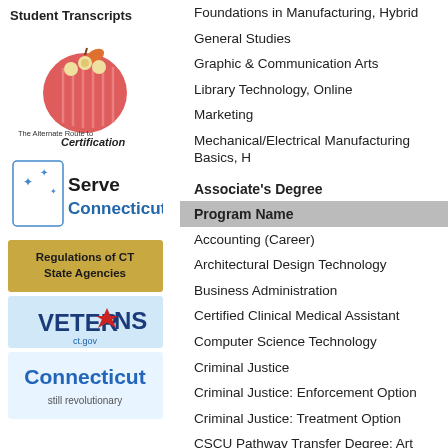Student Transcripts
[Figure (logo): The Alternate Route to Certification logo with apple graphic]
[Figure (logo): Serve Connecticut logo with state outline and stars]
[Figure (logo): Regulations of CT State Agencies banner]
[Figure (logo): Veterans ct.gov logo with red star]
[Figure (logo): Connecticut still revolutionary logo]
Foundations in Manufacturing, Hybrid
General Studies
Graphic & Communication Arts
Library Technology, Online
Marketing
Mechanical/Electrical Manufacturing Basics, H
Associate's Degree
Program Name
Accounting (Career)
Architectural Design Technology
Business Administration
Certified Clinical Medical Assistant
Computer Science Technology
Criminal Justice
Criminal Justice: Enforcement Option
Criminal Justice: Treatment Option
CSCU Pathway Transfer Degree: Art Studies
CSCU Pathway Transfer Degree: Biochemistry
CSCU Pathway Transfer Degree: Biology Stud
CSCU Pathway Transfer Degree: Business Stud
CSCU Pathway Transfer Degree: Chemistry St